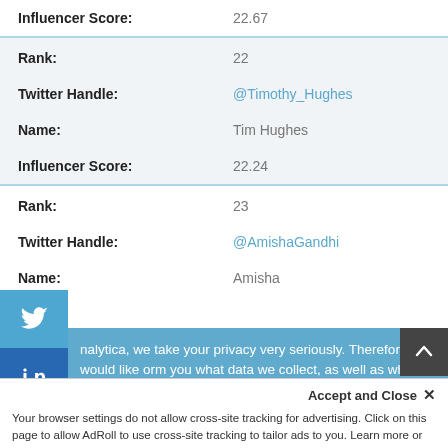| Influencer Score: | 22.67 |
| Rank: | 22 |
| Twitter Handle: | @Timothy_Hughes |
| Name: | Tim Hughes |
| Influencer Score: | 22.24 |
| Rank: | 23 |
| Twitter Handle: | @AmishaGandhi |
| Name: | Amisha |
nalytica, we take your privacy very seriously. Therefore we would like orm you what data we collect, as well as when and how we deal with personal information. To learn more, read our Privacy and Cookie Policy. If you have any questions, don't hesitate to contact us
Accept and Close ×
Your browser settings do not allow cross-site tracking for advertising. Click on this page to allow AdRoll to use cross-site tracking to tailor ads to you. Learn more or opt out of this AdRoll tracking by clicking here. This message only appears once.